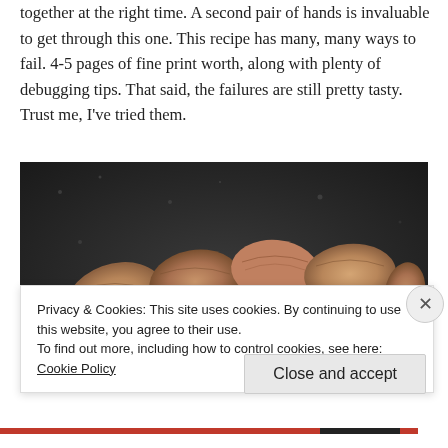together at the right time. A second pair of hands is invaluable to get through this one. This recipe has many, many ways to fail. 4-5 pages of fine print worth, along with plenty of debugging tips. That said, the failures are still pretty tasty. Trust me, I've tried them.
[Figure (photo): Close-up photo of approximately 9 raw almonds arranged on a dark granite/stone surface]
Privacy & Cookies: This site uses cookies. By continuing to use this website, you agree to their use.
To find out more, including how to control cookies, see here: Cookie Policy